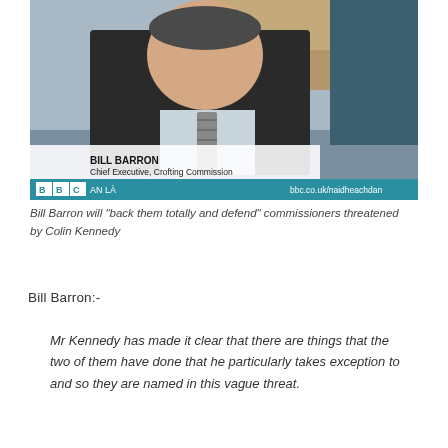[Figure (photo): BBC An La television screenshot showing Bill Barron, Chief Executive of Crofting Commission, being interviewed. Lower-third graphic reads 'BILL BARRON / Chief Executive, Crofting Commission' with BBC AN LA branding and url bbc.co.uk/naidheachdan]
Bill Barron will “back them totally and defend” commissioners threatened by Colin Kennedy
Bill Barron:-
Mr Kennedy has made it clear that there are things that the two of them have done that he particularly takes exception to and so they are named in this vague threat.